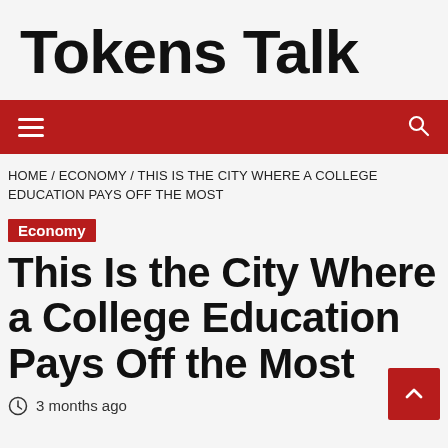Tokens Talk
HOME / ECONOMY / THIS IS THE CITY WHERE A COLLEGE EDUCATION PAYS OFF THE MOST
Economy
This Is the City Where a College Education Pays Off the Most
3 months ago